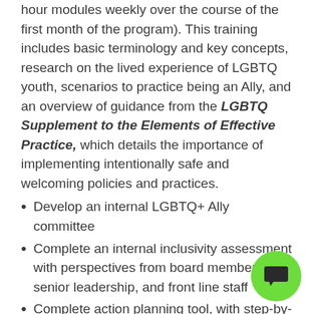hour modules weekly over the course of the first month of the program). This training includes basic terminology and key concepts, research on the lived experience of LGBTQ youth, scenarios to practice being an Ally, and an overview of guidance from the LGBTQ Supplement to the Elements of Effective Practice, which details the importance of implementing intentionally safe and welcoming policies and practices.
Develop an internal LGBTQ+ Ally committee
Complete an internal inclusivity assessment with perspectives from board members, senior leadership, and front line staff
Complete action planning tool, with step-by-step guidance for working with other staff to review and update policies and build new relationships with the LGBTQ community